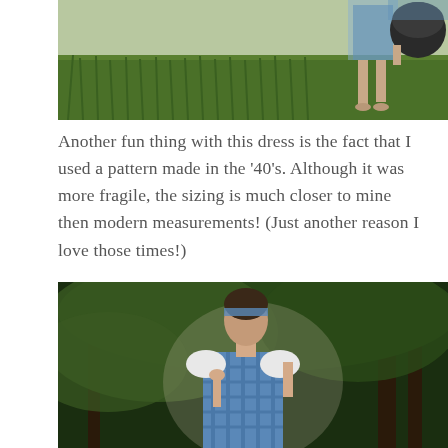[Figure (photo): Top portion of a photograph showing green grass field with a person's legs visible wearing a blue gingham dress and sandals, carrying what appears to be a dark bag or hat box]
Another fun thing with this dress is the fact that I used a pattern made in the '40's. Although it was more fragile, the sizing is much closer to mine then modern measurements! (Just another reason I love those times!)
[Figure (photo): Young woman with dark hair wearing a blue gingham dress with white lace sleeves, a matching gingham headband, standing outdoors in front of trees in a wooded setting]